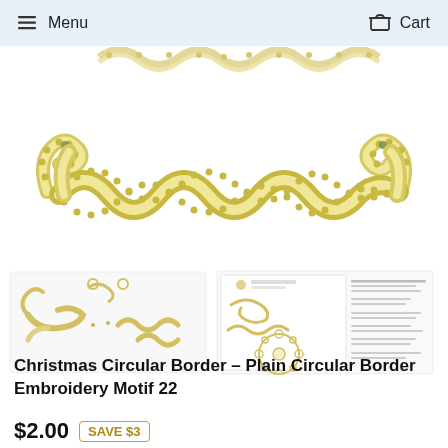Menu   Cart
[Figure (illustration): Embroidery motif design showing a decorative gold/cream beaded scroll border pattern with wavy scalloped edges and curled ends, displayed on white background]
[Figure (illustration): Two thumbnail images: left shows individual embroidery motif pieces, right shows product sheet with multiple design views and a circular border arrangement]
Christmas Circular Border - Plain Circular Border Embroidery Motif 22
$2.00   SAVE $3